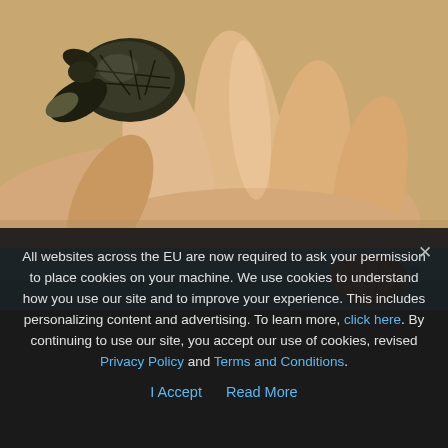[Figure (photo): Close-up photo of a small baby sea turtle being held in a human hand, with the turtle's flipper and shell visible against a sandy/beige background]
[Figure (photo): Partial photo of a sea turtle swimming underwater in blue ocean water]
All websites across the EU are now required to ask your permission to place cookies on your machine. We use cookies to understand how you use our site and to improve your experience. This includes personalizing content and advertising. To learn more, click here. By continuing to use our site, you accept our use of cookies, revised Privacy Policy and Terms and Conditions.
I Accept   Read More